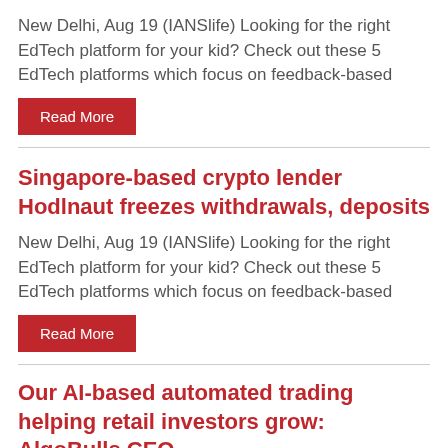New Delhi, Aug 19 (IANSlife) Looking for the right EdTech platform for your kid? Check out these 5 EdTech platforms which focus on feedback-based
Read More
Singapore-based crypto lender Hodlnaut freezes withdrawals, deposits
New Delhi, Aug 19 (IANSlife) Looking for the right EdTech platform for your kid? Check out these 5 EdTech platforms which focus on feedback-based
Read More
Our AI-based automated trading helping retail investors grow: AlgoBulls CEO